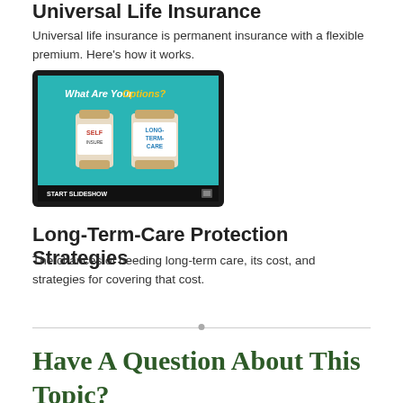Universal Life Insurance
Universal life insurance is permanent insurance with a flexible premium. Here's how it works.
[Figure (screenshot): A tablet screen showing two pill bottles labeled 'SELF INSURE' and 'LONG-TERM-CARE INSURANCE' with the text 'What Are Your Options?' on a teal background. A 'START SLIDESHOW' button appears at the bottom left.]
Long-Term-Care Protection Strategies
The chances of needing long-term care, its cost, and strategies for covering that cost.
Have A Question About This Topic?